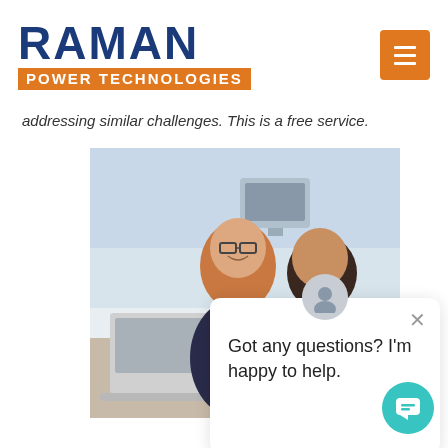[Figure (logo): Raman Power Technologies logo — RAMAN in large dark blue bold text, POWER TECHNOLOGIES in white on orange background bar]
addressing similar challenges. This is a free service.
[Figure (photo): Office scene with two professionals, a woman with glasses and a man, looking at a laptop together]
[Figure (screenshot): Chat widget popup with avatar icon, close button, and text: Got any questions? I'm happy to help.]